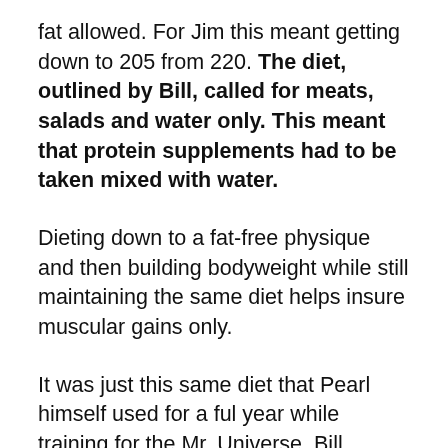fat allowed. For Jim this meant getting down to 205 from 220. The diet, outlined by Bill, called for meats, salads and water only. This meant that protein supplements had to be taken mixed with water.
Dieting down to a fat-free physique and then building bodyweight while still maintaining the same diet helps insure muscular gains only.
It was just this same diet that Pearl himself used for a ful year while training for the Mr. Universe. Bill started at a thin 218 pounds (thin for him) and walked on stage in London knocking them dead weighing 242 pounds of fat-free tissue only.